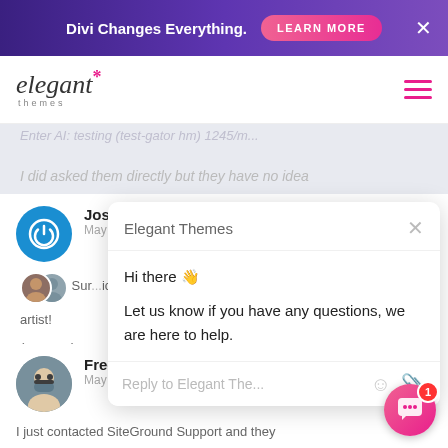Divi Changes Everything. [LEARN MORE] [X]
[Figure (logo): Elegant Themes logo with pink asterisk and italic text]
I did asked them directly but they have no idea
Josh
May 18, 2020
Sur...ice
artist!
(we need...
[Figure (screenshot): Chat popup from Elegant Themes saying Hi there and Let us know if you have any questions, we are here to help. Reply input box at bottom.]
Frederick D
May 18, 2020
I just contacted SiteGround Support and they